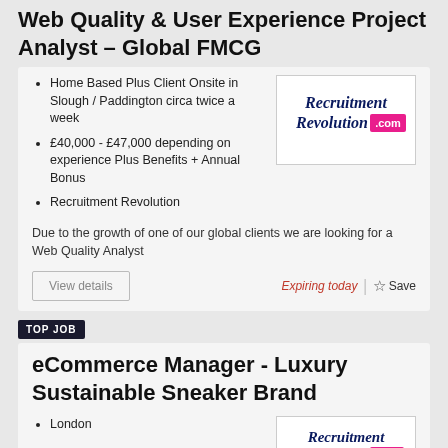Web Quality & User Experience Project Analyst – Global FMCG
Home Based Plus Client Onsite in Slough / Paddington circa twice a week
£40,000 - £47,000 depending on experience Plus Benefits + Annual Bonus
Recruitment Revolution
[Figure (logo): Recruitment Revolution .com logo — dark blue serif text with .com in a pink/magenta box]
Due to the growth of one of our global clients we are looking for a Web Quality Analyst
View details | Expiring today | ☆ Save
TOP JOB
eCommerce Manager - Luxury Sustainable Sneaker Brand
London
[Figure (logo): Recruitment Revolution logo (partially visible at bottom)]